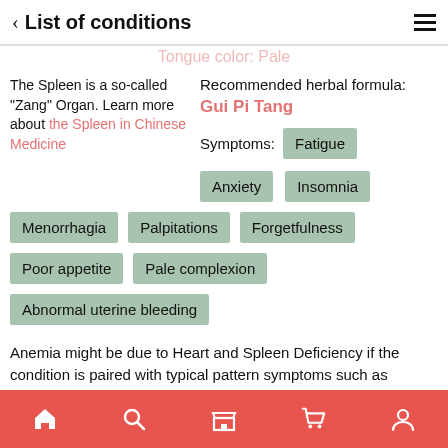< List of conditions
Tongue color: Pale
The Spleen is a so-called "Zang" Organ. Learn more about the Spleen in Chinese Medicine
Recommended herbal formula: Gui Pi Tang
Symptoms: Fatigue
Anxiety
Insomnia
Menorrhagia
Palpitations
Forgetfulness
Poor appetite
Pale complexion
Abnormal uterine bleeding
Anemia might be due to Heart and Spleen Deficiency if the condition is paired with typical pattern symptoms such as forgetfulness, palpitations, insomnia and fatigue. Similarly,